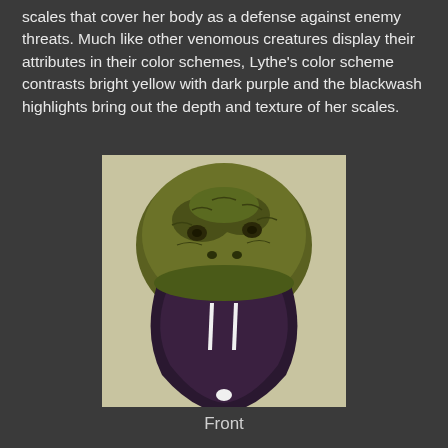scales that cover her body as a defense against enemy threats. Much like other venomous creatures display their attributes in their color schemes, Lythe's color scheme contrasts bright yellow with dark purple and the blackwash highlights bring out the depth and texture of her scales.
[Figure (photo): Front-facing photograph of a fantasy serpent/snake creature mask or sculpture with yellow-green scales on top and dark purple jaw/lower face, mouth open showing two white fangs, set against a light beige/tan background.]
Front